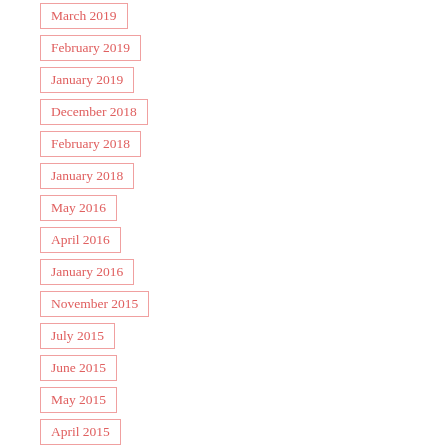March 2019
February 2019
January 2019
December 2018
February 2018
January 2018
May 2016
April 2016
January 2016
November 2015
July 2015
June 2015
May 2015
April 2015
March 2015